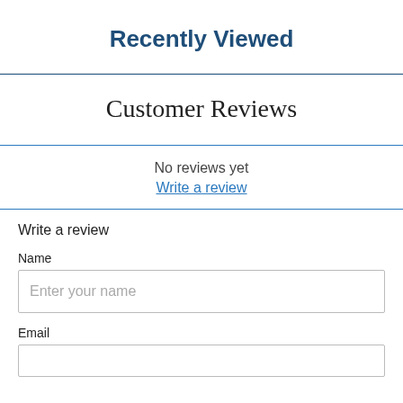Recently Viewed
Customer Reviews
No reviews yet
Write a review
Write a review
Name
Enter your name
Email